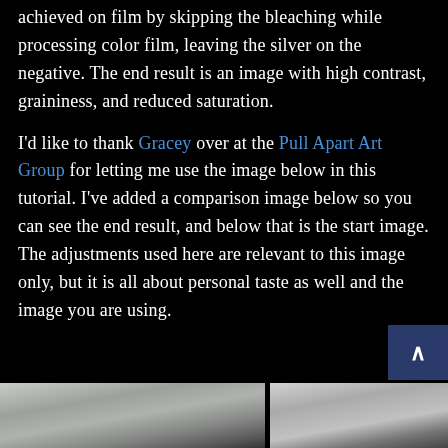achieved on film by skipping the bleaching while processing color film, leaving the silver on the negative. The end result is an image with high contrast, graininess, and reduced saturation.
I'd like to thank Gracey over at the Pull Apart Art Group for letting me use the image below in this tutorial. I've added a comparison image below so you can see the end result, and below that is the start image. The adjustments used here are relevant to this image only, but it is all about personal taste as well and the image you are using.
[Figure (photo): Two side-by-side comparison photos of a cloudy sky landscape, showing the before and after of the cross-processing effect. The images are partially visible at the bottom of the page.]